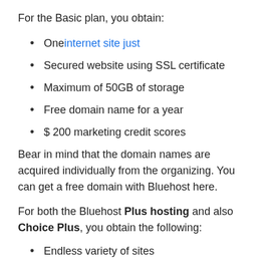For the Basic plan, you obtain:
One internet site just
Secured website using SSL certificate
Maximum of 50GB of storage
Free domain name for a year
$ 200 marketing credit scores
Bear in mind that the domain names are acquired individually from the organizing. You can get a free domain with Bluehost here.
For both the Bluehost Plus hosting and also Choice Plus, you obtain the following:
Endless variety of sites
Free SSL Certification.
No storage or transmission capacity limitation